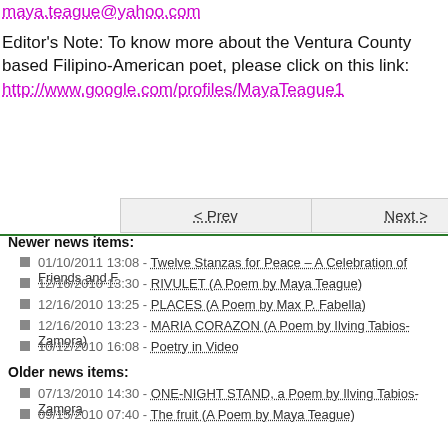maya.teague@yahoo.com
Editor's Note: To know more about the Ventura County based Filipino-American poet, please click on this link:
http://www.google.com/profiles/MayaTeague1
< Prev    Next >
Newer news items:
01/10/2011 13:08 - Twelve Stanzas for Peace – A Celebration of Friends and F
12/16/2010 13:30 - RIVULET (A Poem by Maya Teague)
12/16/2010 13:25 - PLACES (A Poem by Max P. Fabella)
12/16/2010 13:23 - MARIA CORAZON (A Poem by Ilving Tabios-Zamora)
10/12/2010 16:08 - Poetry in Video
Older news items:
07/13/2010 14:30 - ONE-NIGHT STAND, a Poem by Ilving Tabios-Zamora
09/15/2010 07:40 - The fruit (A Poem by Maya Teague)